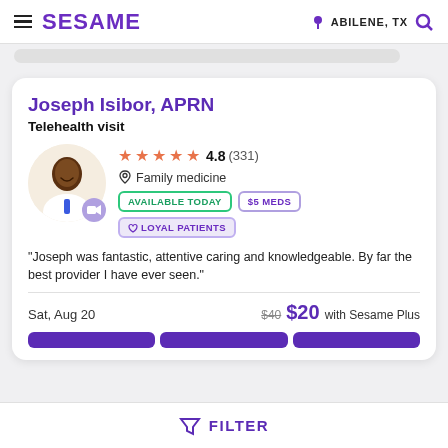SESAME | ABILENE, TX
Joseph Isibor, APRN
Telehealth visit
[Figure (photo): Profile photo of Joseph Isibor, APRN, a man in medical attire smiling, with a video camera badge overlay. Star rating: 4.8 (331). Family medicine specialty. Badges: AVAILABLE TODAY, $5 MEDS, LOYAL PATIENTS.]
"Joseph was fantastic, attentive caring and knowledgeable. By far the best provider I have ever seen."
Sat, Aug 20    $40  $20 with Sesame Plus
FILTER